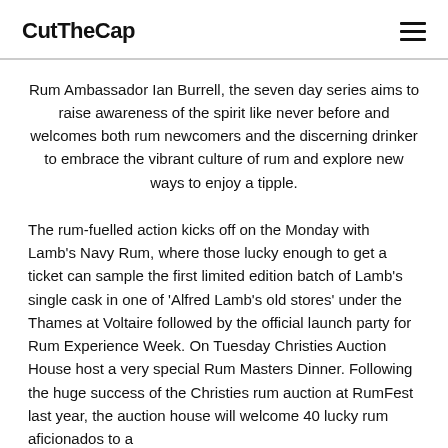CutTheCap
Rum Ambassador Ian Burrell, the seven day series aims to raise awareness of the spirit like never before and welcomes both rum newcomers and the discerning drinker to embrace the vibrant culture of rum and explore new ways to enjoy a tipple.
The rum-fuelled action kicks off on the Monday with Lamb’s Navy Rum, where those lucky enough to get a ticket can sample the first limited edition batch of Lamb’s single cask in one of ‘Alfred Lamb’s old stores’ under the Thames at Voltaire followed by the official launch party for Rum Experience Week. On Tuesday Christies Auction House host a very special Rum Masters Dinner. Following the huge success of the Christies rum auction at RumFest last year, the auction house will welcome 40 lucky rum aficionados to a